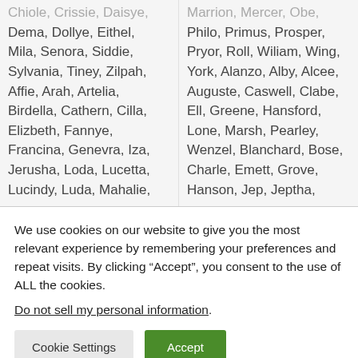Chiole, Crissie, Daisye, Dema, Dollye, Eithel, Mila, Senora, Siddie, Sylvania, Tiney, Zilpah, Affie, Arah, Artelia, Birdella, Cathern, Cilla, Elizbeth, Fannye, Francina, Genevra, Iza, Jerusha, Loda, Lucetta, Lucindy, Luda, Mahalie,
Marrion, Mercer, Obe, Philo, Primus, Prosper, Pryor, Roll, Wiliam, Wing, York, Alanzo, Alby, Alcee, Auguste, Caswell, Clabe, Ell, Greene, Hansford, Lone, Marsh, Pearley, Wenzel, Blanchard, Bose, Charle, Emett, Grove, Hanson, Jep, Jeptha,
We use cookies on our website to give you the most relevant experience by remembering your preferences and repeat visits. By clicking “Accept”, you consent to the use of ALL the cookies.
Do not sell my personal information.
Cookie Settings
Accept